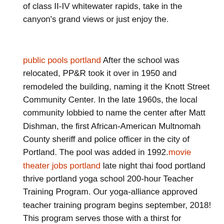of class II-IV whitewater rapids, take in the canyon's grand views or just enjoy the.
public pools portland After the school was relocated, PP&R took it over in 1950 and remodeled the building, naming it the Knott Street Community Center. In the late 1960s, the local community lobbied to name the center after Matt Dishman, the first African-American Multnomah County sheriff and police officer in the city of Portland. The pool was added in 1992.movie theater jobs portland late night thai food portland thrive portland yoga school 200-hour Teacher Training Program. Our yoga-alliance approved teacher training program begins september, 2018! This program serves those with a thirst for knowledge, who want to deepen their yoga practice and gain the confidence and competence necessary to lead yoga in a class setting.Despite the late night, alcohol-fueled arguments this will no doubt cause, The food isn't like the traditional type of Thai food, it tends to lend.Presented by the